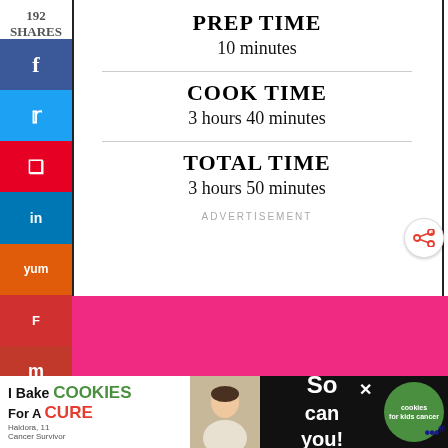192
SHARES
PREP TIME
10 minutes
COOK TIME
3 hours 40 minutes
TOTAL TIME
3 hours 50 minutes
ADVERTISEMENT
[Figure (other): Pink advertisement banner with dark text partially visible at bottom]
[Figure (other): What's Next panel showing Simple Chunky Salsa with food thumbnail]
[Figure (other): I Bake Cookies For A Cure bottom advertisement banner with person photo and green badge]